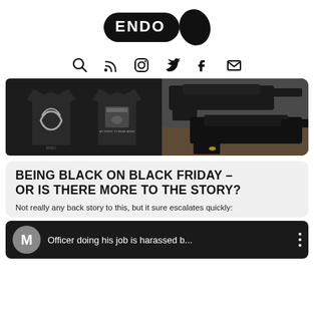[Figure (logo): ENDO logo — black pill/speech-bubble shape with 'ENDO' text and a leaf/droplet shape to the right]
[Figure (infographic): Row of navigation icons: search (magnifying glass), RSS feed, Instagram, Twitter bird, Facebook f, envelope/mail]
[Figure (photo): Two black t-shirts on dark background on the left panel, and a close-up photo of black handguns on a wooden surface on the right panel]
BEING BLACK ON BLACK FRIDAY – OR IS THERE MORE TO THE STORY?
Not really any back story to this, but it sure escalates quickly:
[Figure (screenshot): Video thumbnail preview strip: grey avatar circle with letter M, title text 'Officer doing his job is harassed b...', three-dot menu icon, on dark background]